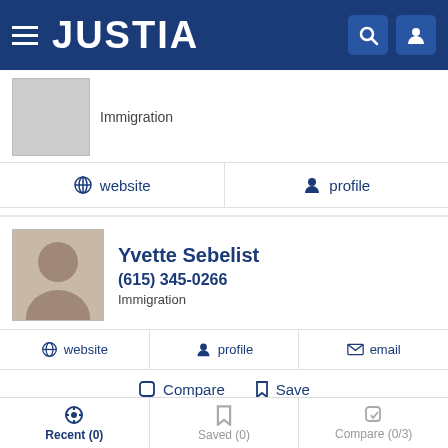JUSTIA
Immigration
website  profile
Compare  Save
Yvette Sebelist
(615) 345-0266
Immigration
website  profile  email
Compare  Save
Perry A. Craft
Recent (0)  Saved (0)  Compare (0/3)